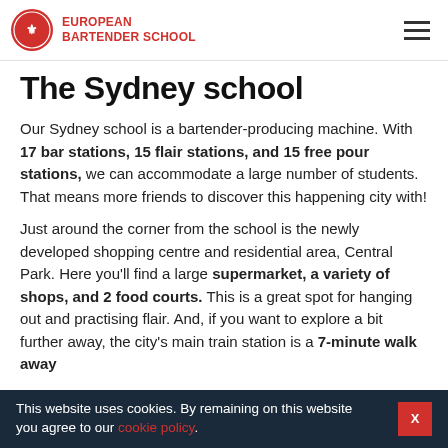EUROPEAN BARTENDER SCHOOL
The Sydney school
Our Sydney school is a bartender-producing machine. With 17 bar stations, 15 flair stations, and 15 free pour stations, we can accommodate a large number of students. That means more friends to discover this happening city with!
Just around the corner from the school is the newly developed shopping centre and residential area, Central Park. Here you'll find a large supermarket, a variety of shops, and 2 food courts. This is a great spot for hanging out and practising flair. And, if you want to explore a bit further away, the city's main train station is a 7-minute walk away
This website uses cookies. By remaining on this website you agree to our cookie policy.